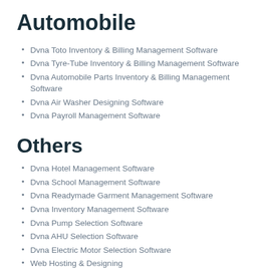Automobile
Dvna Toto Inventory & Billing Management Software
Dvna Tyre-Tube Inventory & Billing Management Software
Dvna Automobile Parts Inventory & Billing Management Software
Dvna Air Washer Designing Software
Dvna Payroll Management Software
Others
Dvna Hotel Management Software
Dvna School Management Software
Dvna Readymade Garment Management Software
Dvna Inventory Management Software
Dvna Pump Selection Software
Dvna AHU Selection Software
Dvna Electric Motor Selection Software
Web Hosting & Designing
Database Management